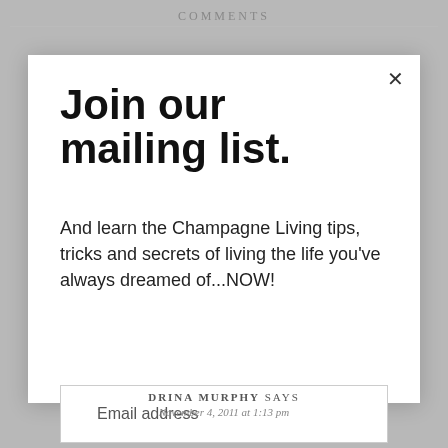COMMENTS
Join our mailing list.
And learn the Champagne Living tips, tricks and secrets of living the life you've always dreamed of...NOW!
Email address
Subscribe
DRINA MURPHY SAYS
November 4, 2011 at 1:13 pm